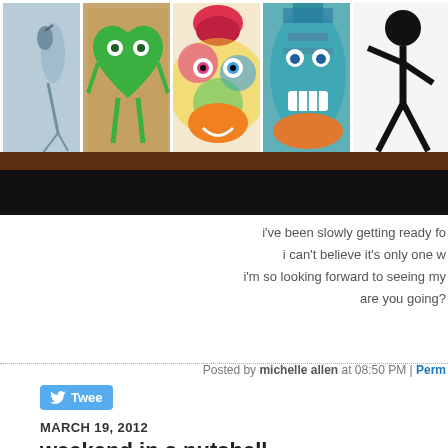[Figure (photo): A row of colorful artworks displayed on a wooden shelf: a heron/bird painting, a green heart alien figure, a colorful swirling face, a teal tribal/totem face, and a black figure on white. Below the shelf is a dark background.]
i've been slowly getting ready fo
i can't believe it's only one w
i'm so looking forward to seeing my
are you going?
Posted by michelle allen at 08:50 PM | Perm
Tweet
MARCH 19, 2012
weekend in a nutshell